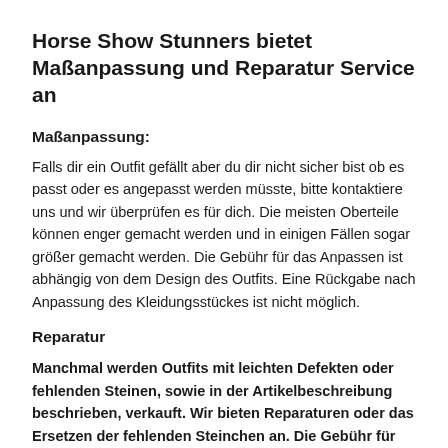Horse Show Stunners bietet Maßanpassung und Reparatur Service an
Maßanpassung:
Falls dir ein Outfit gefällt aber du dir nicht sicher bist ob es passt oder es angepasst werden müsste, bitte kontaktiere uns und wir überprüfen es für dich. Die meisten Oberteile können enger gemacht werden und in einigen Fällen sogar größer gemacht werden. Die Gebühr für das Anpassen ist abhängig von dem Design des Outfits. Eine Rückgabe nach Anpassung des Kleidungsstückes ist nicht möglich.
Reparatur
Manchmal werden Outfits mit leichten Defekten oder fehlenden Steinen, sowie in der Artikelbeschreibung beschrieben, verkauft. Wir bieten Reparaturen oder das Ersetzen der fehlenden Steinchen an. Die Gebühr für den